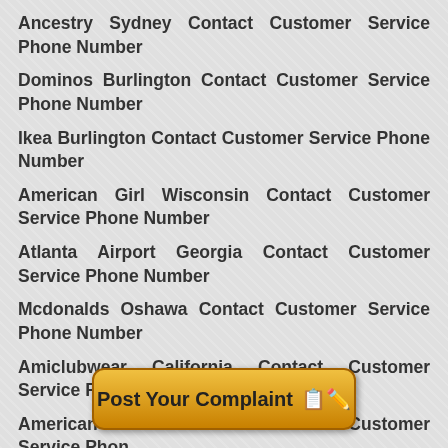Ancestry Sydney Contact Customer Service Phone Number
Dominos Burlington Contact Customer Service Phone Number
Ikea Burlington Contact Customer Service Phone Number
American Girl Wisconsin Contact Customer Service Phone Number
Atlanta Airport Georgia Contact Customer Service Phone Number
Mcdonalds Oshawa Contact Customer Service Phone Number
Amiclubwear California Contact Customer Service Phone Number
American Express Customer Service Phone Number
[Figure (other): Post Your Complaint button with pencil/document emoji icon]